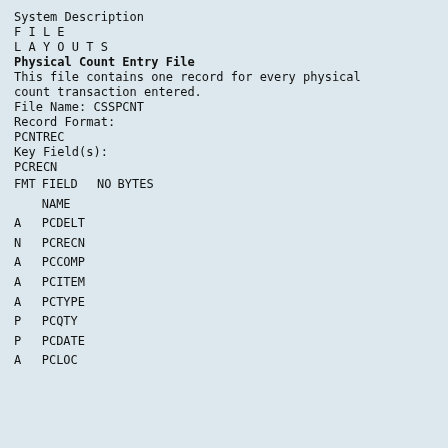System Description
F I L E
L A Y O U T S
Physical Count Entry File
This file contains one record for every physical count transaction entered.
File Name: CSSPCNT
Record Format:
PCNTREC
Key Field(s):
PCRECN
| FMT | FIELD NAME | NO | BYTES |
| --- | --- | --- | --- |
| A | PCDELT |  |  |
| N | PCRECN |  |  |
| A | PCCOMP |  |  |
| A | PCITEM |  |  |
| A | PCTYPE |  |  |
| P | PCQTY |  |  |
| P | PCDATE |  |  |
| A | PCLOC |  |  |